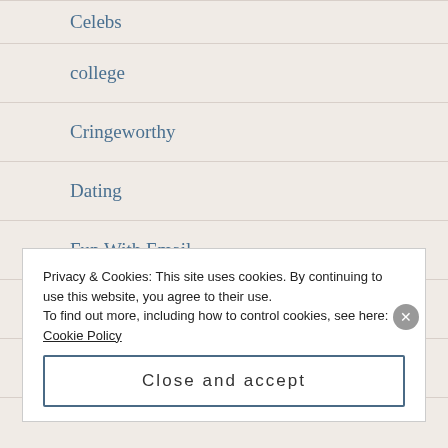Celebs
college
Cringeworthy
Dating
Fun With Email
Life
Memory Lane
Privacy & Cookies: This site uses cookies. By continuing to use this website, you agree to their use.
To find out more, including how to control cookies, see here: Cookie Policy
Close and accept